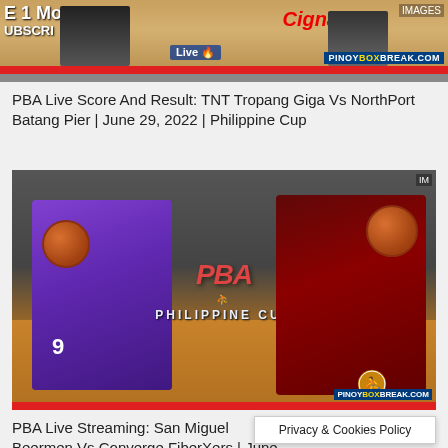[Figure (photo): PBA promotional banner with basketball players, Cigna logo, and PinoyBoxBreak.com branding]
PBA Live Score And Result: TNT Tropang Giga Vs NorthPort Batang Pier | June 29, 2022 | Philippine Cup
[Figure (photo): PBA Philippine Cup basketball game photo showing two players — one in purple Converge jersey #9 and one in red/black jersey — with PBA Philippine Cup logo overlay and PinoyBoxBreak.com branding]
PBA Live Streaming: San Miguel Beermen Vs Converge FiberXers | June 26, 2022 | Philippine Cup
Privacy & Cookies Policy